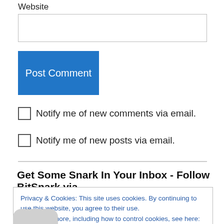Website
[Figure (screenshot): Empty website text input field with border]
[Figure (screenshot): Blue Post Comment button]
Notify me of new comments via email.
Notify me of new posts via email.
Get Some Snark In Your Inbox - Follow BitSnark via
Privacy & Cookies: This site uses cookies. By continuing to use this website, you agree to their use.
To find out more, including how to control cookies, see here: Cookie Policy
Close and accept